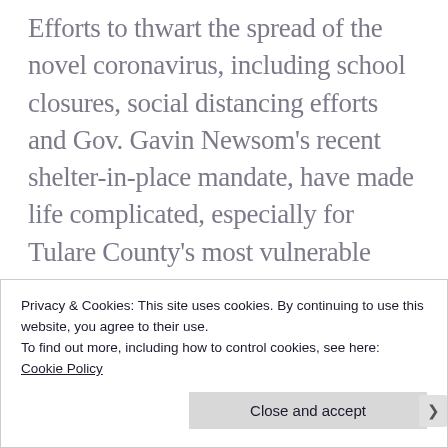Efforts to thwart the spread of the novel coronavirus, including school closures, social distancing efforts and Gov. Gavin Newsom's recent shelter-in-place mandate, have made life complicated, especially for Tulare County's most vulnerable populations. Access to food has been even more difficult for some, such as students who rely on meals from school, people who depend on food pantries and older people who can't leave their homes
Privacy & Cookies: This site uses cookies. By continuing to use this website, you agree to their use.
To find out more, including how to control cookies, see here: Cookie Policy